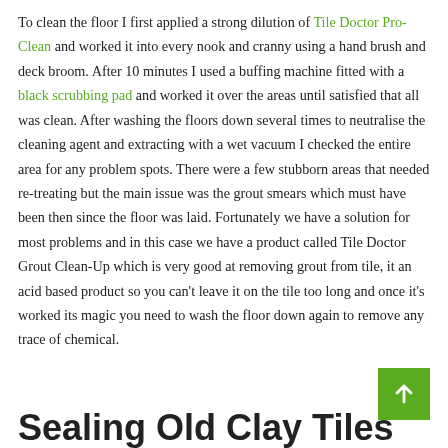To clean the floor I first applied a strong dilution of Tile Doctor Pro-Clean and worked it into every nook and cranny using a hand brush and deck broom. After 10 minutes I used a buffing machine fitted with a black scrubbing pad and worked it over the areas until satisfied that all was clean. After washing the floors down several times to neutralise the cleaning agent and extracting with a wet vacuum I checked the entire area for any problem spots. There were a few stubborn areas that needed re-treating but the main issue was the grout smears which must have been then since the floor was laid. Fortunately we have a solution for most problems and in this case we have a product called Tile Doctor Grout Clean-Up which is very good at removing grout from tile, it an acid based product so you can't leave it on the tile too long and once it's worked its magic you need to wash the floor down again to remove any trace of chemical.
Sealing Old Clay Tiles